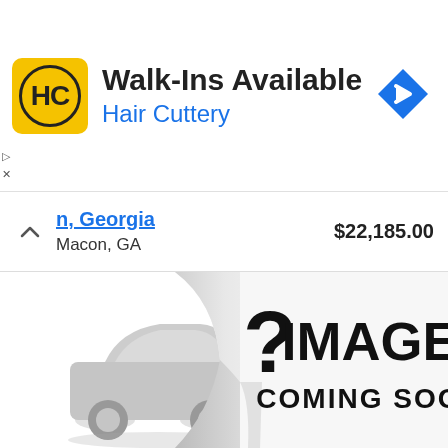[Figure (screenshot): Hair Cuttery advertisement banner: yellow square logo with 'HC' in a circle, headline 'Walk-Ins Available', subtext 'Hair Cuttery' in blue, navigation arrow icon in top right]
n, Georgia
Macon, GA
$22,185.00
[Figure (illustration): Image Coming Soon placeholder showing a peeling paper reveal effect with a car silhouette on the left and bold text '? IMAGE COMING SOON' on the right]